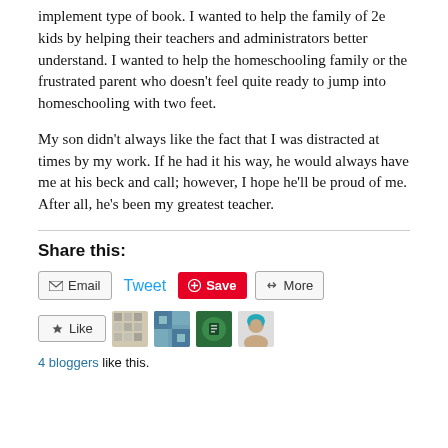implement type of book. I wanted to help the family of 2e kids by helping their teachers and administrators better understand. I wanted to help the homeschooling family or the frustrated parent who doesn't feel quite ready to jump into homeschooling with two feet.

My son didn't always like the fact that I was distracted at times by my work. If he had it his way, he would always have me at his beck and call; however, I hope he'll be proud of me. After all, he's been my greatest teacher.
Share this:
Email  Tweet  Save  More
Like  [avatars]  4 bloggers like this.